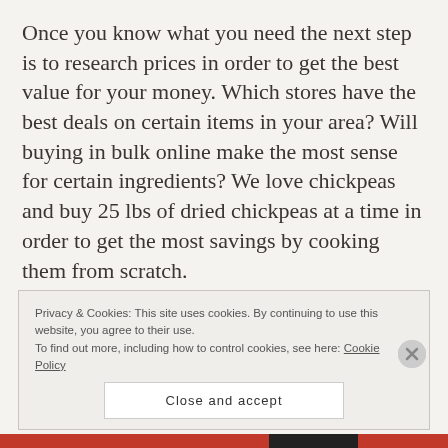Once you know what you need the next step is to research prices in order to get the best value for your money. Which stores have the best deals on certain items in your area? Will buying in bulk online make the most sense for certain ingredients? We love chickpeas and buy 25 lbs of dried chickpeas at a time in order to get the most savings by cooking them from scratch.
Privacy & Cookies: This site uses cookies. By continuing to use this website, you agree to their use.
To find out more, including how to control cookies, see here: Cookie Policy
Close and accept